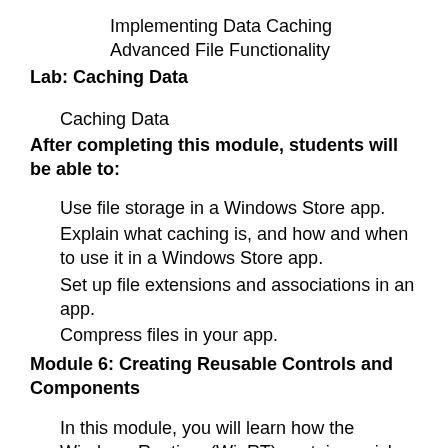Implementing Data Caching
Advanced File Functionality
Lab: Caching Data
Caching Data
After completing this module, students will be able to:
Use file storage in a Windows Store app.
Explain what caching is, and how and when to use it in a Windows Store app.
Set up file extensions and associations in an app.
Compress files in your app.
Module 6: Creating Reusable Controls and Components
In this module, you will learn how the Windows Runtime (WinRT) contains a rich set of